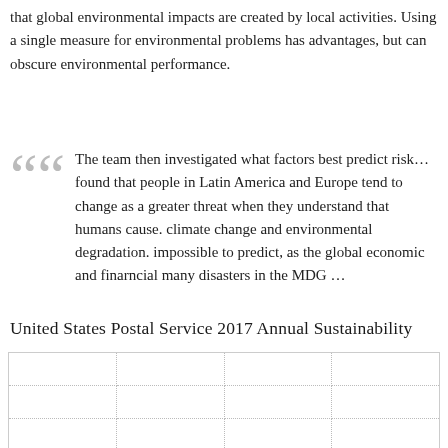that global environmental impacts are created by local activities. Using a single measure for environmental problems has advantages, but can obscure environmental performance.
The team then investigated what factors best predict risk… found that people in Latin America and Europe tend to change as a greater threat when they understand that humans cause. climate change and environmental degradation. impossible to predict, as the global economic and financial many disasters in the MDG …
United States Postal Service 2017 Annual Sustainabilit…
|  |  |  |  |
|  |  |  |  |
|  |  |  |  |
|  |  |  |  |